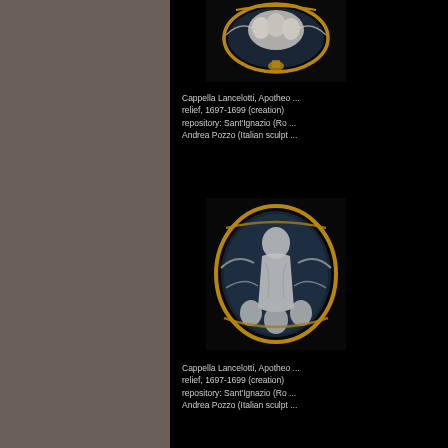[Figure (photo): Baroque relief sculpture from Cappella Lancelotti, showing sculptural figures against ornate gilded frame, dark background]
Cappella Lancelotti, Apotheo ...
relief, 1697-1699 (creation)
repository: Sant'Ignazio (Ro ...
Andrea Pozzo (Italian sculpt ...
[Figure (photo): Baroque relief sculpture from Cappella Lancelotti, larger view showing figure of God or saint with angels and cherubs, white marble against gilded ornate frame]
Cappella Lancelotti, Apotheo ...
relief, 1697-1699 (creation)
repository: Sant'Ignazio (Ro ...
Andrea Pozzo (Italian sculpt ...